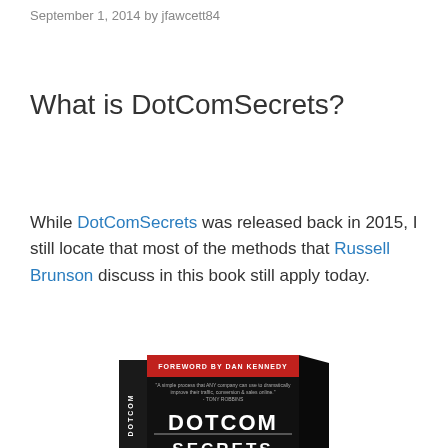September 1, 2014 by jfawcett84
What is DotComSecrets?
While DotComSecrets was released back in 2015, I still locate that most of the methods that Russell Brunson discuss in this book still apply today.
[Figure (photo): DotCom Secrets book cover with foreword by Dan Kennedy, dark cover with red and white text]